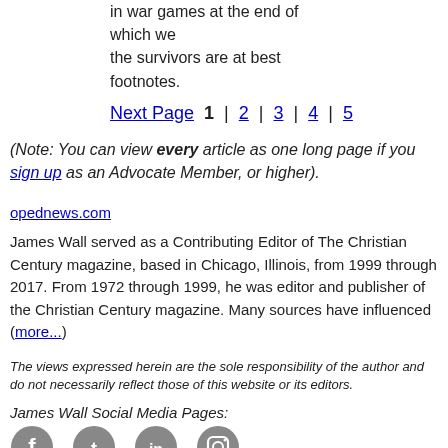in war games at the end of which we
the survivors are at best footnotes.
Next Page  1 | 2 | 3 | 4 | 5
(Note: You can view every article as one long page if you sign up as an Advocate Member, or higher).
opednews.com
James Wall served as a Contributing Editor of The Christian Century magazine, based in Chicago, Illinois, from 1999 through 2017. From 1972 through 1999, he was editor and publisher of the Christian Century magazine. Many sources have influenced (more...)
The views expressed herein are the sole responsibility of the author and do not necessarily reflect those of this website or its editors.
James Wall Social Media Pages:
[Figure (other): Social media icons for Facebook, Twitter, LinkedIn, and Instagram]